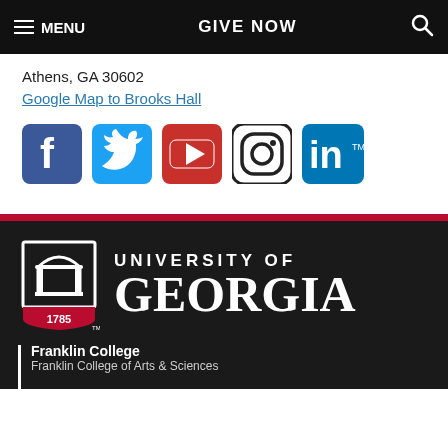MENU  GIVE NOW  [search]
Athens, GA 30602
Google Map to Brooks Hall
[Figure (logo): Social media icons row: Facebook, Twitter, YouTube, Instagram, LinkedIn]
[Figure (logo): University of Georgia logo: UGA shield with 1785 and arch, beside wordmark UNIVERSITY OF GEORGIA]
Franklin College
Franklin College of Arts & Sciences